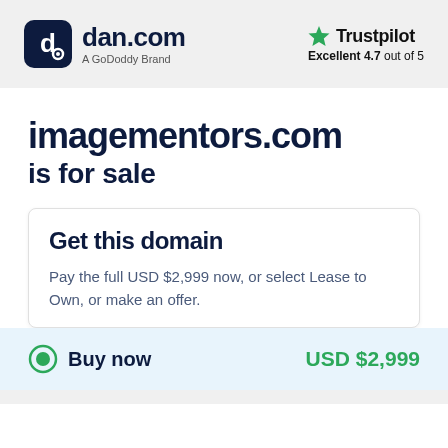dan.com — A GoDoddy Brand | Trustpilot Excellent 4.7 out of 5
imagementors.com is for sale
Get this domain
Pay the full USD $2,999 now, or select Lease to Own, or make an offer.
Buy now   USD $2,999